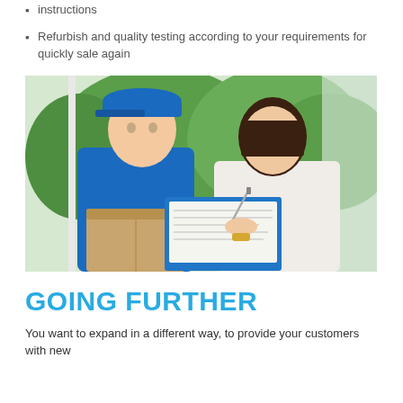instructions
Refurbish and quality testing according to your requirements for quickly sale again
[Figure (photo): A delivery man in a blue uniform and cap holding a cardboard box, while a woman in a white shirt signs a clipboard/document. Green trees visible in background through a window.]
GOING FURTHER
You want to expand in a different way, to provide your customers with new